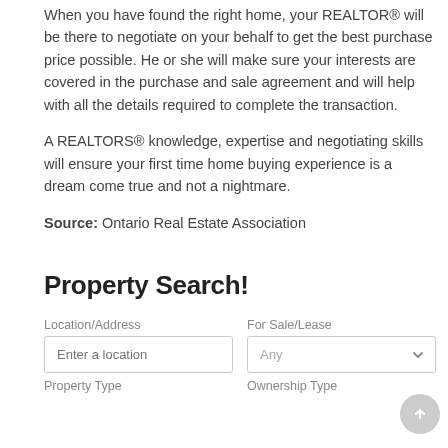When you have found the right home, your REALTOR® will be there to negotiate on your behalf to get the best purchase price possible. He or she will make sure your interests are covered in the purchase and sale agreement and will help with all the details required to complete the transaction.
A REALTORS® knowledge, expertise and negotiating skills will ensure your first time home buying experience is a dream come true and not a nightmare.
Source: Ontario Real Estate Association
Property Search!
[Figure (screenshot): Property search form with fields: Location/Address (text input with placeholder 'Enter a location'), For Sale/Lease (dropdown showing 'Any'), Property Type label, Ownership Type label]